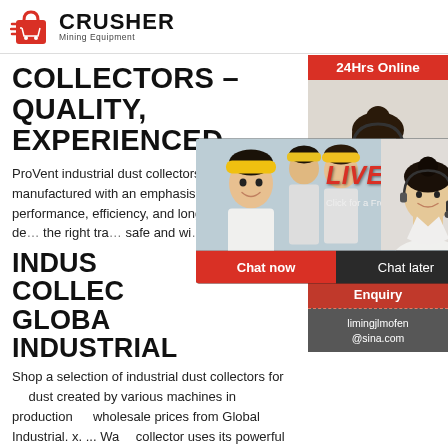[Figure (logo): Crusher Mining Equipment logo with red shopping bag icon and bold CRUSHER text]
COLLECTORS – QUALITY, EXPERIENCED ...
ProVent industrial dust collectors are manufactured with an emphasis on performance, efficiency, and longevity. ProVent's design ensures the right tra… safe and wi…
INDUSTRIAL DUST COLLECTORS | GLOBAL INDUSTRIAL
Shop a selection of industrial dust collectors for… dust created by various machines in production… wholesale prices from Global Industrial. x. … Wa… collector uses its powerful motor to extract dus… … more. See all 1 items in product family.
[Figure (screenshot): Live chat popup overlay showing workers in hard hats, LIVE CHAT heading in red italic, Click for a Free Consultation text, Chat now and Chat later buttons]
[Figure (infographic): Right sidebar with 24Hrs Online red bar, headset agent photo, Need questions & suggestion panel, Chat Now button, Enquiry label, limingjlmofen@sina.com email]